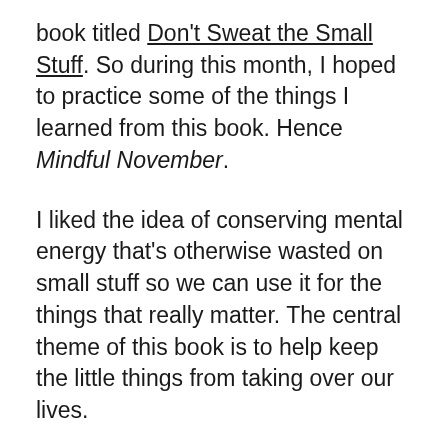book titled Don't Sweat the Small Stuff. So during this month, I hoped to practice some of the things I learned from this book. Hence Mindful November.
I liked the idea of conserving mental energy that's otherwise wasted on small stuff so we can use it for the things that really matter. The central theme of this book is to help keep the little things from taking over our lives.
I picked twelve things to practice during November. These rules sound like truisms, but as with all truisms, the challenge is in